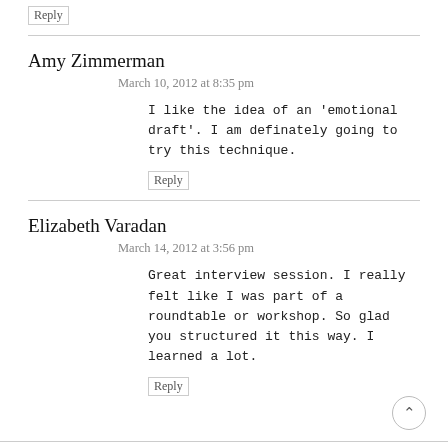Reply
Amy Zimmerman
March 10, 2012 at 8:35 pm
I like the idea of an 'emotional draft'. I am definately going to try this technique.
Reply
Elizabeth Varadan
March 14, 2012 at 3:56 pm
Great interview session. I really felt like I was part of a roundtable or workshop. So glad you structured it this way. I learned a lot.
Reply